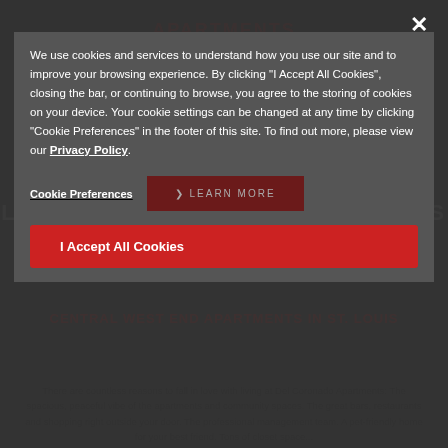[Figure (screenshot): Cookie consent modal overlay on apartment website. Background shows apartment website with red heading text and dark navigation. Modal has dark grey background with white text explaining cookie policy. Includes 'Cookie Preferences' link, dark red 'LEARN MORE' button, and red 'I Accept All Cookies' button. Close X button in top right.]
We use cookies and services to understand how you use our site and to improve your browsing experience. By clicking "I Accept All Cookies", closing the bar, or continuing to browse, you agree to the storing of cookies on your device. Your cookie settings can be changed at any time by clicking "Cookie Preferences" in the footer of this site. To find out more, please view our Privacy Policy.
Cookie Preferences
LEARN MORE
I Accept All Cookies
CENTRAL WEST END APARTMENTS IN ST. LOUIS
There are countless reasons to fall in love with living at Del Coronado Apartments: The spacious, peaceful vibe of the apartments and community spaces. The great bars, restaurants and shopping right outside your door. The professional management team. A pet-friendly home for your best friend. Tons of closet space...